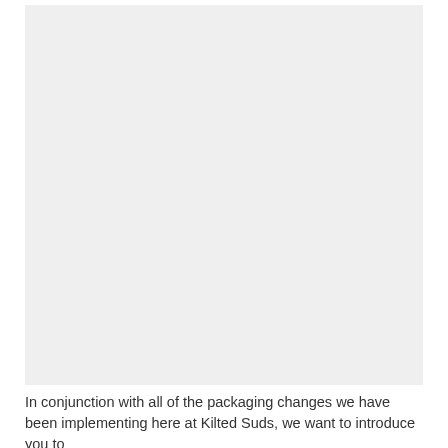[Figure (photo): A large light grey rectangular image placeholder area occupying most of the upper portion of the page.]
In conjunction with all of the packaging changes we have been implementing here at Kilted Suds, we want to introduce you to